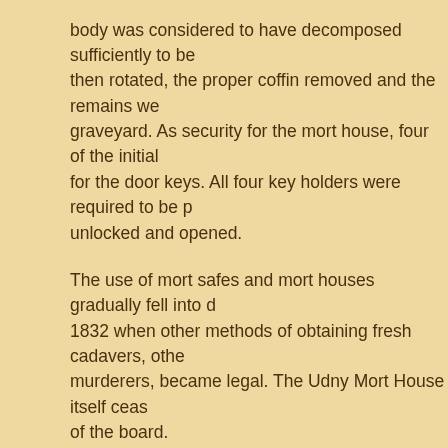body was considered to have decomposed sufficiently to be then rotated, the proper coffin removed and the remains we graveyard. As security for the mort house, four of the initial for the door keys. All four key holders were required to be p unlocked and opened.
The use of mort safes and mort houses gradually fell into d 1832 when other methods of obtaining fresh cadavers, othe murderers, became legal. The Udny Mort House itself ceas of the board.
Since grave robbing as an occupation these days has take rest in peace, assured that your remains are not likely to be the dark of night.
So, sleep well and pleasant dreams this Halloween.
Although, you might want to lock all the doors and turn on t
Posted by R.T. Lawton at 09:01   8 comments